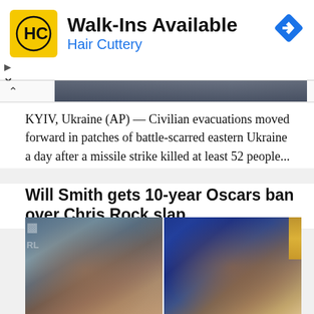[Figure (screenshot): Hair Cuttery advertisement banner with yellow HC logo, Walk-Ins Available text, Hair Cuttery subtitle in blue, and blue direction arrow icon. Small play and close controls at left.]
[Figure (photo): Partially visible image strip above collapsed article caret]
KYIV, Ukraine (AP) — Civilian evacuations moved forward in patches of battle-scarred eastern Ukraine a day after a missile strike killed at least 52 people...
Will Smith gets 10-year Oscars ban over Chris Rock slap
[Figure (photo): Side-by-side composite photo of Chris Rock (left) and Will Smith (right) against event backdrop backgrounds.]